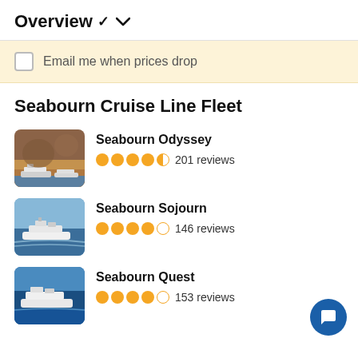Overview ▾
Email me when prices drop
Seabourn Cruise Line Fleet
Seabourn Odyssey — 201 reviews
Seabourn Sojourn — 146 reviews
Seabourn Quest — 153 reviews